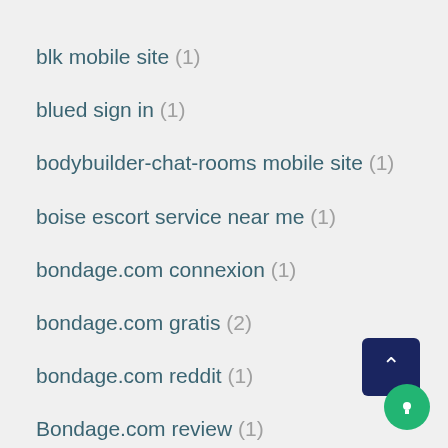blk mobile site (1)
blued sign in (1)
bodybuilder-chat-rooms mobile site (1)
boise escort service near me (1)
bondage.com connexion (1)
bondage.com gratis (2)
bondage.com reddit (1)
Bondage.com review (1)
bondage.com sito di incontri (1)
Bondage.com visitors (1)